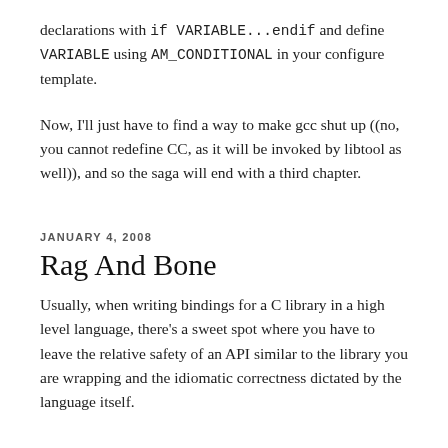declarations with if VARIABLE...endif and define VARIABLE using AM_CONDITIONAL in your configure template.
JANUARY 4, 2008
Rag And Bone
Usually, when writing bindings for a C library in a high level language, there's a sweet spot where you have to leave the relative safety of an API similar to the library you are wrapping and the idiomatic correctness dictated by the language itself.